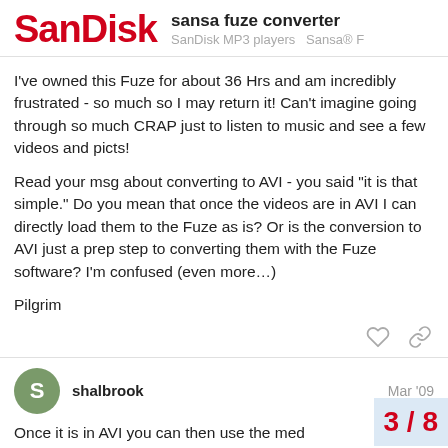SanDisk | sansa fuze converter | SanDisk MP3 players  Sansa® F
I've owned this Fuze for about 36 Hrs and am incredibly frustrated - so much so I may return it! Can't imagine going through so much CRAP just to listen to music and see a few videos and picts!
Read your msg about converting to AVI - you said "it is that simple." Do you mean that once the videos are in AVI I can directly load them to the Fuze as is? Or is the conversion to AVI just a prep step to converting them with the Fuze software? I'm confused (even more…)
Pilgrim
shalbrook  Mar '09
Once it is in AVI you can then use the med
3 / 8